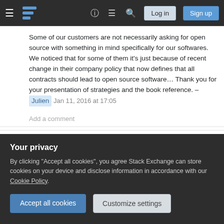Stack Exchange navigation bar with hamburger menu, logo, help, chat, search icons, Log in and Sign up buttons
Some of our customers are not necessarily asking for open source with something in mind specifically for our softwares. We noticed that for some of them it’s just because of recent change in their company policy that now defines that all contracts should lead to open source software… Thank you for your presentation of strategies and the book reference. – Julien Jan 11, 2016 at 17:05
Add a comment
Well, this is basically a question about how to
Your privacy
By clicking “Accept all cookies”, you agree Stack Exchange can store cookies on your device and disclose information in accordance with our Cookie Policy.
Accept all cookies    Customize settings